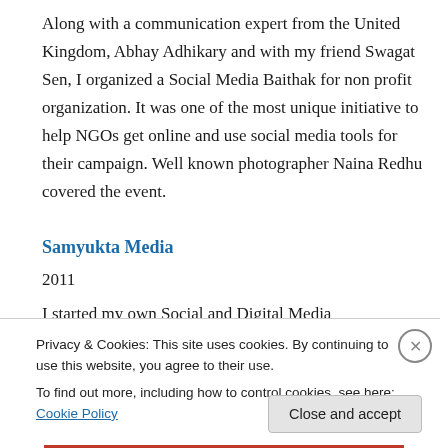Along with a communication expert from the United Kingdom, Abhay Adhikary and with my friend Swagat Sen, I organized a Social Media Baithak for non profit organization. It was one of the most unique initiative to help NGOs get online and use social media tools for their campaign. Well known photographer Naina Redhu covered the event.
Samyukta Media
2011
I started my own Social and Digital Media
Privacy & Cookies: This site uses cookies. By continuing to use this website, you agree to their use.
To find out more, including how to control cookies, see here: Cookie Policy